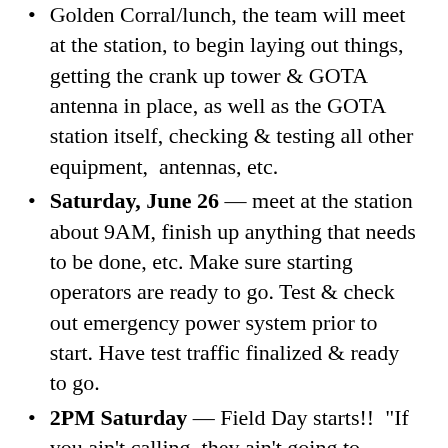Golden Corral/lunch, the team will meet at the station, to begin laying out things, getting the crank up tower & GOTA antenna in place, as well as the GOTA station itself, checking & testing all other equipment,  antennas, etc.
Saturday, June 26 — meet at the station about 9AM, finish up anything that needs to be done, etc. Make sure starting operators are ready to go. Test & check out emergency power system prior to start. Have test traffic finalized & ready to go.
2PM Saturday — Field Day starts!!  "If you ain't calling, they ain't going to answer" – AF4Z Pizza & refreshments will be provided for